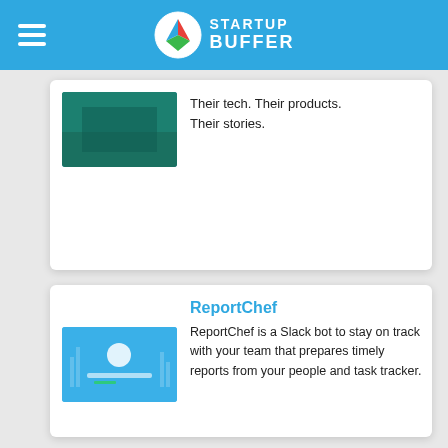Startup Buffer
Their tech. Their products. Their stories.
ReportChef
[Figure (screenshot): Screenshot of ReportChef website with blue background and dashboard elements]
ReportChef is a Slack bot to stay on track with your team that prepares timely reports from your people and task tracker.